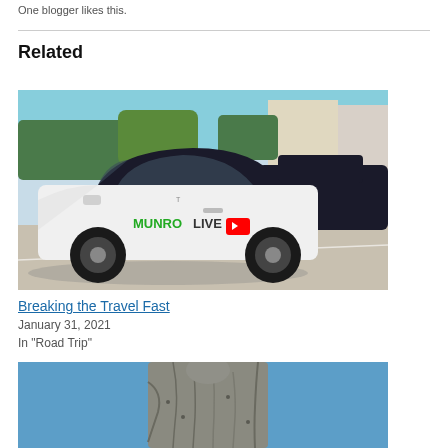One blogger likes this.
Related
[Figure (photo): White Tesla Model 3 with 'MUNRO LIVE' branding and YouTube logo on the door, parked in a lot with another dark Tesla in background, sunny day with palm trees.]
Breaking the Travel Fast
January 31, 2021
In "Road Trip"
[Figure (photo): Close-up of a weathered metal or concrete statue/sculpture against a blue sky background, showing detail of a figure's torso and drapery.]